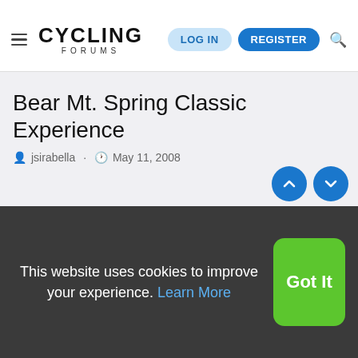CYCLING FORUMS — LOG IN | REGISTER
Bear Mt. Spring Classic Experience
jsirabella · May 11, 2008
This website uses cookies to improve your experience. Learn More